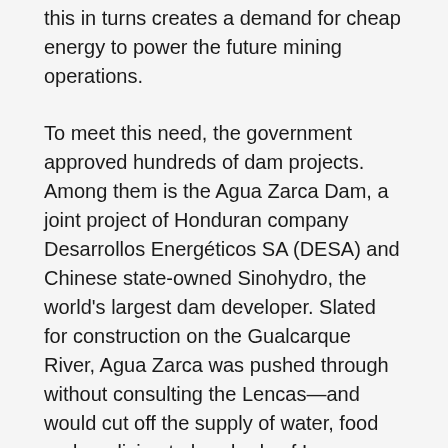this in turns creates a demand for cheap energy to power the future mining operations.
To meet this need, the government approved hundreds of dam projects. Among them is the Agua Zarca Dam, a joint project of Honduran company Desarrollos Energéticos SA (DESA) and Chinese state-owned Sinohydro, the world's largest dam developer. Slated for construction on the Gualcarque River, Agua Zarca was pushed through without consulting the Lencas—and would cut off the supply of water, food and medicine to hundreds of Lenca familes.
COPINH began fighting the dams in 2006, using every means at their disposal: they brought the case to the Inter-American Human Rights Commission, lodged appeals against the International Finance Corporation (IFC), the private sector arm of the World Bank which agreed to finance the dam, and organized his ownright sit-in...